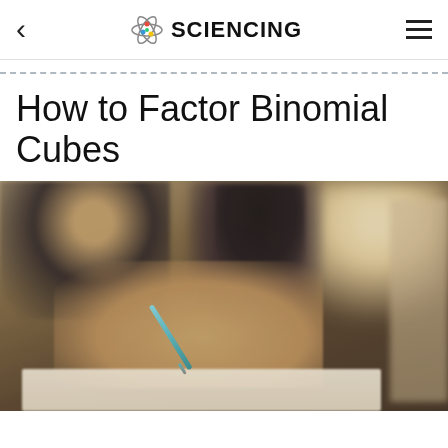SCIENCING
How to Factor Binomial Cubes
[Figure (photo): Students in a classroom; foreground shows a hand holding a pen writing in a notebook, with blurred students in the background.]